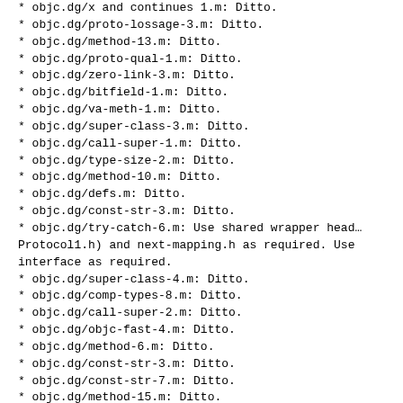objc.dg/x and continues 1.m: Ditto.
objc.dg/proto-lossage-3.m: Ditto.
objc.dg/method-13.m: Ditto.
objc.dg/proto-qual-1.m: Ditto.
objc.dg/zero-link-3.m: Ditto.
objc.dg/bitfield-1.m: Ditto.
objc.dg/va-meth-1.m: Ditto.
objc.dg/super-class-3.m: Ditto.
objc.dg/call-super-1.m: Ditto.
objc.dg/type-size-2.m: Ditto.
objc.dg/method-10.m: Ditto.
objc.dg/defs.m: Ditto.
objc.dg/const-str-3.m: Ditto.
objc.dg/try-catch-6.m: Use shared wrapper header (Protocol1.h) and next-mapping.h as required. Use interface as required.
objc.dg/super-class-4.m: Ditto.
objc.dg/comp-types-8.m: Ditto.
objc.dg/call-super-2.m: Ditto.
objc.dg/objc-fast-4.m: Ditto.
objc.dg/method-6.m: Ditto.
objc.dg/const-str-3.m: Ditto.
objc.dg/const-str-7.m: Ditto.
objc.dg/method-15.m: Ditto.
objc.dg/method-19.m: Ditto.
objc.dg/sync-1.m: Ditto.
objc.dg/layout-1.m: Ditto.
objc.dg/bitfield-3.m: Ditto.
objc.dg/try-catch-3.m: Ditto.
objc.dg/try-catch-7.m: Ditto.
objc.dg/comp-types-10.m: Ditto.